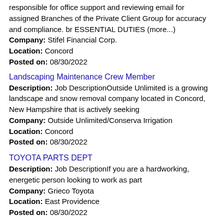responsible for office support and reviewing email for assigned Branches of the Private Client Group for accuracy and compliance. br ESSENTIAL DUTIES (more...) Company: Stifel Financial Corp. Location: Concord Posted on: 08/30/2022
Landscaping Maintenance Crew Member
Description: Job DescriptionOutside Unlimited is a growing landscape and snow removal company located in Concord, New Hampshire that is actively seeking Company: Outside Unlimited/Conserva Irrigation Location: Concord Posted on: 08/30/2022
TOYOTA PARTS DEPT
Description: Job DescriptionIf you are a hardworking, energetic person looking to work as part Company: Grieco Toyota Location: East Providence Posted on: 08/30/2022
Travel Nurse RN - OR - Operating Room - $2,812 per week